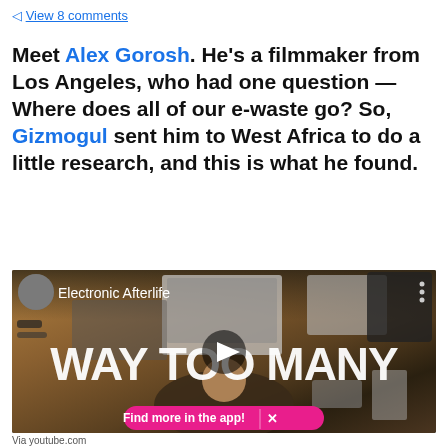View 8 comments
Meet Alex Gorosh. He's a filmmaker from Los Angeles, who had one question — Where does all of our e-waste go? So, Gizmogul sent him to West Africa to do a little research, and this is what he found.
[Figure (screenshot): YouTube video thumbnail titled 'Electronic Afterlife' showing a man surrounded by many electronics with text 'WAY TOO MANY' and a play button overlay, plus a pink 'Find more in the app!' button]
Via youtube.com